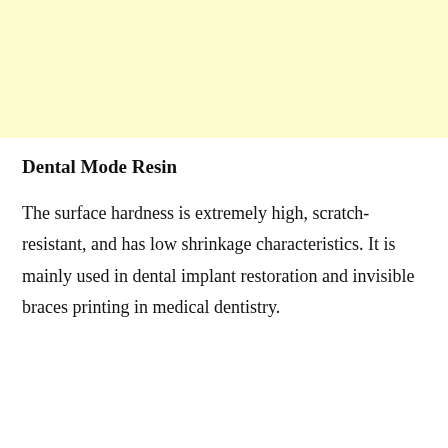[Figure (other): Light yellow/cream colored rectangular block at the top of the page]
Dental Mode Resin
The surface hardness is extremely high, scratch-resistant, and has low shrinkage characteristics. It is mainly used in dental implant restoration and invisible braces printing in medical dentistry.